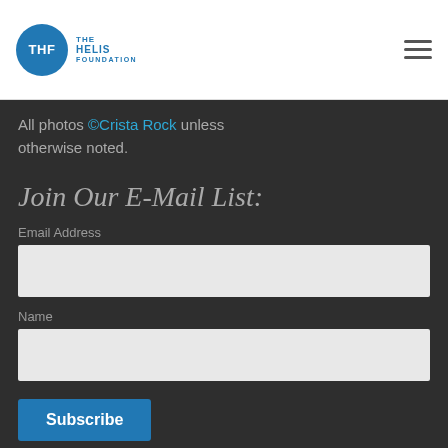The Helis Foundation
All photos ©Crista Rock unless otherwise noted.
Join Our E-Mail List:
Email Address
Name
Subscribe